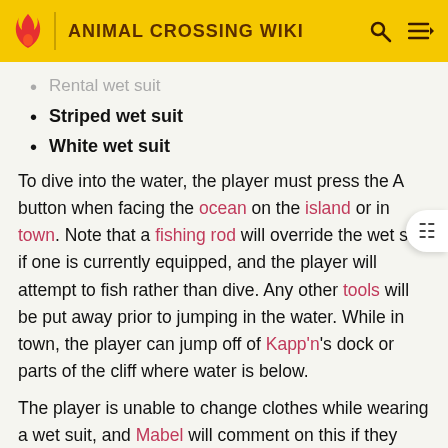ANIMAL CROSSING WIKI
Rental wet suit
Striped wet suit
White wet suit
To dive into the water, the player must press the A button when facing the ocean on the island or in town. Note that a fishing rod will override the wet suit if one is currently equipped, and the player will attempt to fish rather than dive. Any other tools will be put away prior to jumping in the water. While in town, the player can jump off of Kapp'n's dock or parts of the cliff where water is below.
The player is unable to change clothes while wearing a wet suit, and Mabel will comment on this if they attempt to try on clothes in the store while wearing a wet suit.
In New Horizons